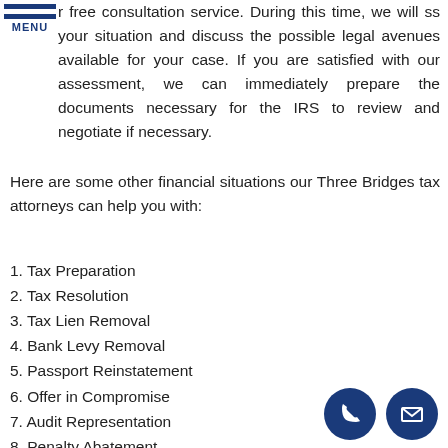MENU
r free consultation service. During this time, we will ss your situation and discuss the possible legal avenues available for your case. If you are satisfied with our assessment, we can immediately prepare the documents necessary for the IRS to review and negotiate if necessary.
Here are some other financial situations our Three Bridges tax attorneys can help you with:
1. Tax Preparation
2. Tax Resolution
3. Tax Lien Removal
4. Bank Levy Removal
5. Passport Reinstatement
6. Offer in Compromise
7. Audit Representation
8. Penalty Abatement
9. Innocent Spouse
10. Wage Garnishment Removal
[Figure (illustration): Phone icon and email/envelope icon, both white on dark navy blue circular backgrounds, in bottom right corner]